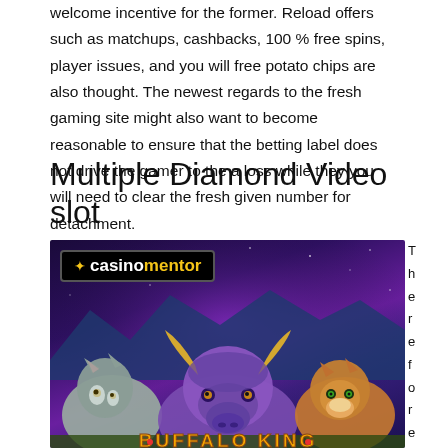welcome incentive for the former. Reload offers such as matchups, cashbacks, 100 % free spins, player issues, and you will free potato chips are also thought. The newest regards to the fresh gaming site might also want to become reasonable to ensure that the betting label does not drive the gamer to the a loss while they you will need to clear the fresh given number for detachment.
Multiple Diamond Video slot
[Figure (photo): Casino game promotional image for Buffalo King slot game, showing a buffalo, wolf, and mountain lion against a purple night sky background, with 'casinomentor' logo in top-left and 'BUFFALO KING' text at the bottom.]
T h e r e f o r e y